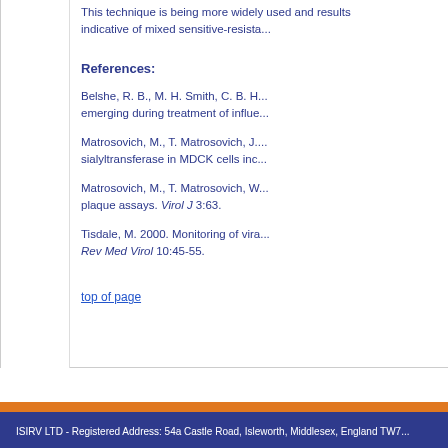This technique is being more widely used and results indicative of mixed sensitive-resista...
References:
Belshe, R. B., M. H. Smith, C. B. H... emerging during treatment of influe...
Matrosovich, M., T. Matrosovich, J.... sialyltransferase in MDCK cells inc...
Matrosovich, M., T. Matrosovich, W... plaque assays. Virol J 3:63.
Tisdale, M. 2000. Monitoring of vira... Rev Med Virol 10:45-55.
top of page
ISIRV LTD - Registered Address: 54a Castle Road, Isleworth, Middlesex, England TW7...